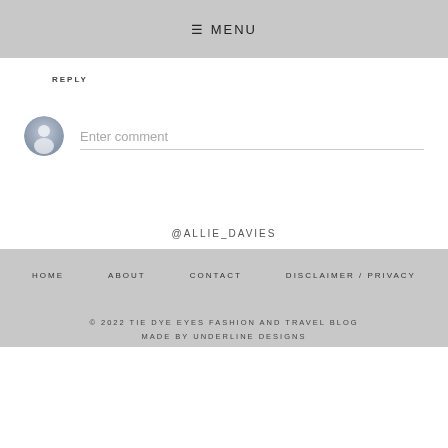≡ MENU
REPLY
[Figure (illustration): User avatar placeholder icon - gray circle with a person silhouette]
Enter comment
@ALLIE_DAVIES
HOME   ABOUT   CONTACT   DISCLAIMER / PRIVACY
© 2022 TIE DYE EYES FASHION AND TRAVEL BLOG
MADE BY UNDERLINE DESIGNS